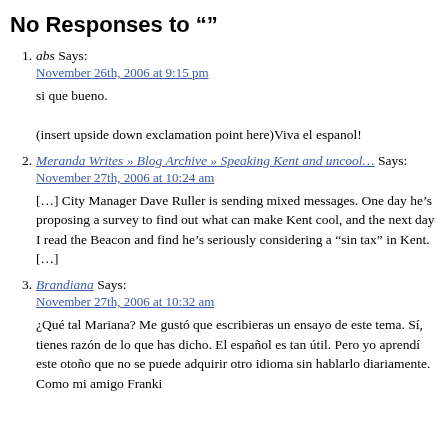No Responses to "“”"
1. abs Says:
November 26th, 2006 at 9:15 pm

si que bueno.

(insert upside down exclamation point here)Viva el espanol!
2. Meranda Writes » Blog Archive » Speaking Kent and uncool… Says:
November 27th, 2006 at 10:24 am

[…] City Manager Dave Ruller is sending mixed messages. One day he’s proposing a survey to find out what can make Kent cool, and the next day I read the Beacon and find he’s seriously considering a “sin tax” in Kent. […]
3. Brandiana Says:
November 27th, 2006 at 10:32 am

¿Qué tal Mariana? Me gustó que escribieras un ensayo de este tema. Sí, tienes razón de lo que has dicho. El español es tan útil. Pero yo aprendí este otoño que no se puede adquirir otro idioma sin hablarlo diariamente. Como mi amigo Franki